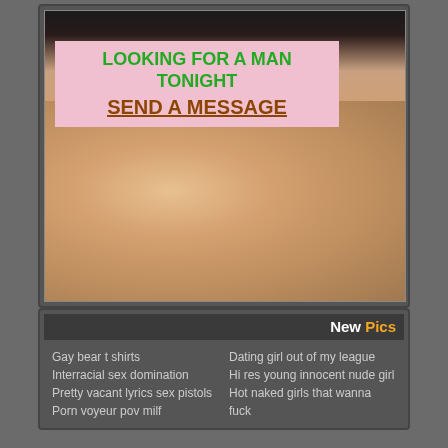[Figure (photo): Advertisement banner with a photo and overlay text on a dark gray website background]
LOOKING FOR A MAN TONIGHT
SEND A MESSAGE
New Pics
Gay bear t shirts
Interracial sex domination
Pretty vacant lyrics sex pistols
Porn voyeur pov milf
Dating girl out of my league
Hi res young innocent nude girl
Hot naked girls that wanna fuck